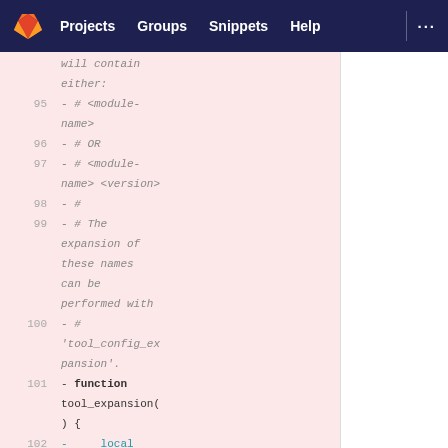GitLab — Projects  Groups  Snippets  Help
Code diff view lines 95-102 showing deleted lines with comments about module-name, version, tool_config_expansion function, and local keyword